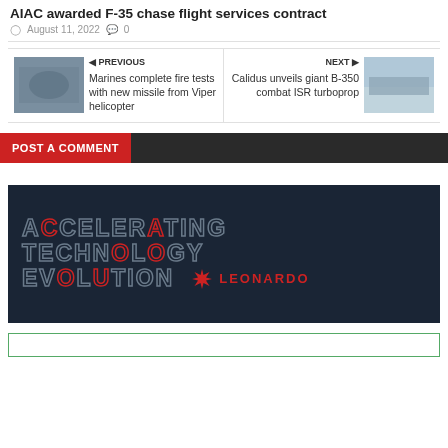AIAC awarded F-35 chase flight services contract
August 11, 2022  0
PREVIOUS
Marines complete fire tests with new missile from Viper helicopter
NEXT
Calidus unveils giant B-350 combat ISR turboprop
POST A COMMENT
[Figure (illustration): Leonardo advertisement banner with text 'ACCELERATING TECHNOLOGY EVOLUTION' and Leonardo logo on dark background]